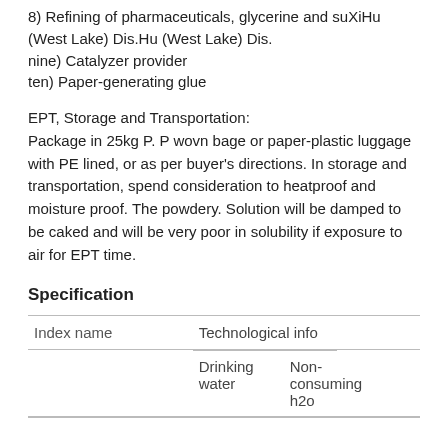8) Refining of pharmaceuticals, glycerine and suXiHu (West Lake) Dis.Hu (West Lake) Dis.
nine) Catalyzer provider
ten) Paper-generating glue
EPT, Storage and Transportation:
Package in 25kg P. P wovn bage or paper-plastic luggage with PE lined, or as per buyer's directions. In storage and transportation, spend consideration to heatproof and moisture proof. The powdery. Solution will be damped to be caked and will be very poor in solubility if exposure to air for EPT time.
Specification
| Index name | Technological info |  |
| --- | --- | --- |
|  | Drinking water | Non-consuming h2o |